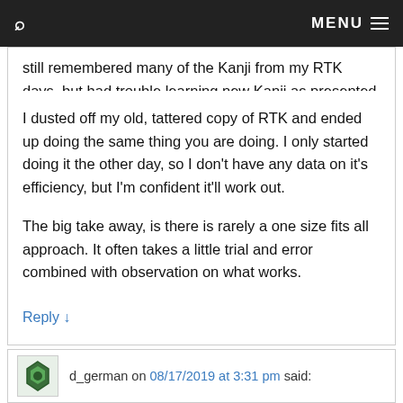🔍 MENU ≡
still remembered many of the Kanji from my RTK days, but had trouble learning new Kanji as presented in Kanji Kingdom.
I dusted off my old, tattered copy of RTK and ended up doing the same thing you are doing. I only started doing it the other day, so I don't have any data on it's efficiency, but I'm confident it'll work out.
The big take away, is there is rarely a one size fits all approach. It often takes a little trial and error combined with observation on what works.
Reply ↓
d_german on 08/17/2019 at 3:31 pm said: